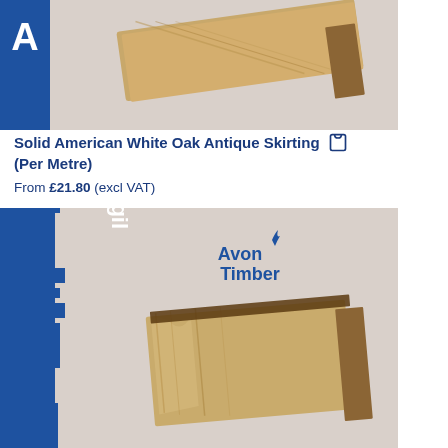[Figure (photo): Product photo of Solid American White Oak Antique Skirting board shown at an angle on a light grey background, with a blue vertical banner on the left showing the letter 'A']
Solid American White Oak Antique Skirting (Per Metre)
From £21.80 (excl VAT)
[Figure (photo): Product photo of Vigil skirting board profile shown on a light grey background, with a blue silhouette profile shape on the left labelled 'Vigil' and the Avon Timber logo in the upper right, with a wooden moulded skirting board sample shown at an angle]